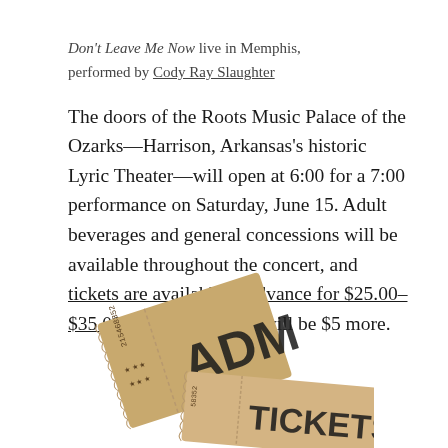Don't Leave Me Now live in Memphis, performed by Cody Ray Slaughter
The doors of the Roots Music Palace of the Ozarks—Harrison, Arkansas's historic Lyric Theater—will open at 6:00 for a 7:00 performance on Saturday, June 15. Adult beverages and general concessions will be available throughout the concert, and tickets are available in advance for $25.00–$35.00; at the door, they will be $5 more.
[Figure (photo): Two overlapping admission tickets with 'ADM' and 'TICKETS' text visible, tan/golden colored concert tickets with serial numbers 215468352 and 58352]